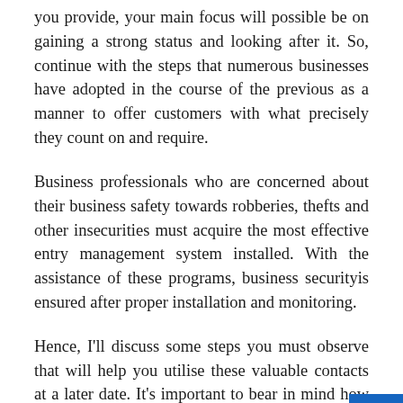you provide, your main focus will possible be on gaining a strong status and looking after it. So, continue with the steps that numerous businesses have adopted in the course of the previous as a manner to offer customers with what precisely they count on and require.
Business professionals who are concerned about their business safety towards robberies, thefts and other insecurities must acquire the most effective entry management system installed. With the assistance of these programs, business securityis ensured after proper installation and monitoring.
Hence, I'll discuss some steps you must observe that will help you utilise these valuable contacts at a later date. It's important to bear in mind how the steps you undertake earlier than you really followup will decide how